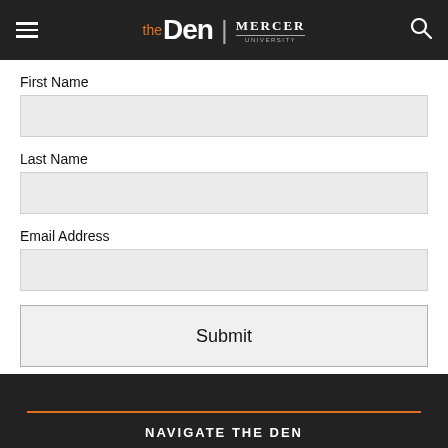the Den | MERCER UNIVERSITY
First Name
Last Name
Email Address
Submit
NAVIGATE THE DEN